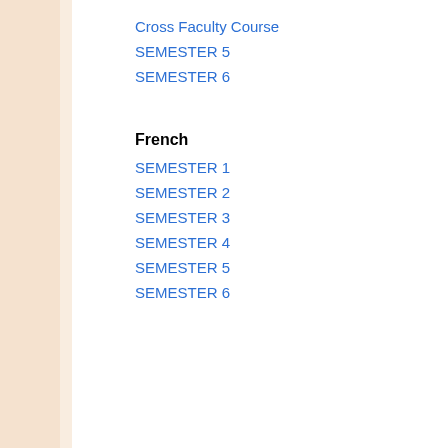Cross Faculty Course
SEMESTER 5
SEMESTER 6
French
SEMESTER 1
SEMESTER 2
SEMESTER 3
SEMESTER 4
SEMESTER 5
SEMESTER 6